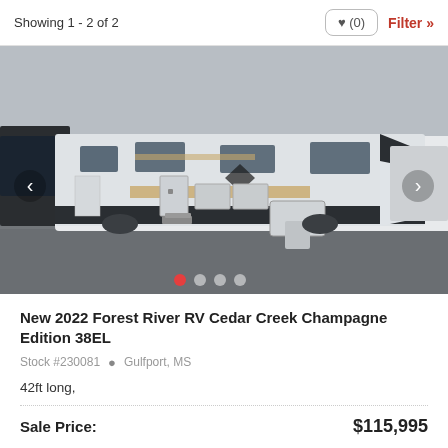Showing 1 - 2 of 2
[Figure (photo): Exterior photo of a white 2022 Forest River RV Cedar Creek Champagne Edition 38EL fifth-wheel trailer parked on a wet lot, showing the full side profile and front hitch area.]
New 2022 Forest River RV Cedar Creek Champagne Edition 38EL
Stock #230081  Gulfport, MS
42ft long,
Sale Price:  $115,995